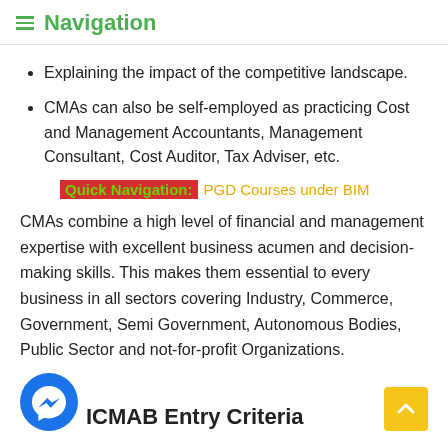≡ Navigation
Explaining the impact of the competitive landscape.
CMAs can also be self-employed as practicing Cost and Management Accountants, Management Consultant, Cost Auditor, Tax Adviser, etc.
Quick Navigation: PGD Courses under BIM
CMAs combine a high level of financial and management expertise with excellent business acumen and decision-making skills. This makes them essential to every business in all sectors covering Industry, Commerce, Government, Semi Government, Autonomous Bodies, Public Sector and not-for-profit Organizations.
ICMAB Entry Criteria
[Figure (logo): Facebook Messenger circular blue icon]
[Figure (other): Yellow scroll-to-top button with upward chevron arrow]